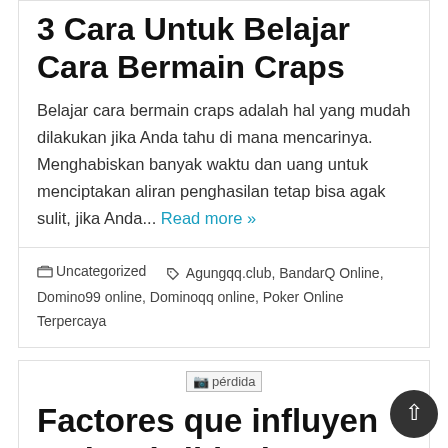3 Cara Untuk Belajar Cara Bermain Craps
Belajar cara bermain craps adalah hal yang mudah dilakukan jika Anda tahu di mana mencarinya. Menghabiskan banyak waktu dan uang untuk menciptakan aliran penghasilan tetap bisa agak sulit, jika Anda... Read more »
Uncategorized   Agungqq.club, BandarQ Online, Domino99 online, Dominoqq online, Poker Online Terpercaya
[Figure (other): Broken image placeholder labeled 'pérdida']
Factores que influyen en la pérdida de peso y cómo